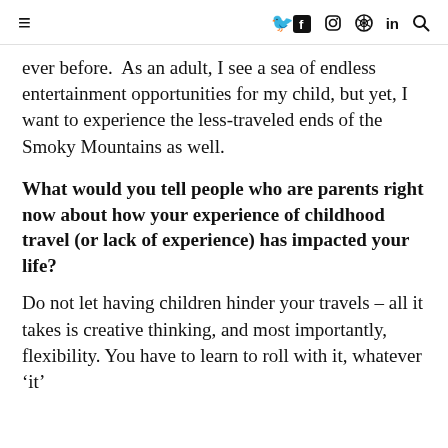≡   f  ⊙  ⊕  in  🔍
ever before.  As an adult, I see a sea of endless entertainment opportunities for my child, but yet, I want to experience the less-traveled ends of the Smoky Mountains as well.
What would you tell people who are parents right now about how your experience of childhood travel (or lack of experience) has impacted your life?
Do not let having children hinder your travels – all it takes is creative thinking, and most importantly, flexibility. You have to learn to roll with it, whatever 'it'